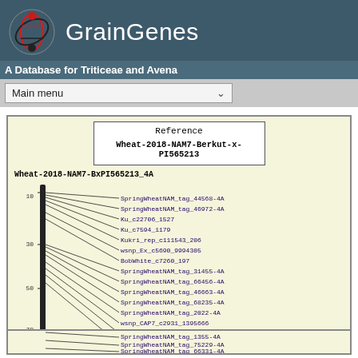GrainGenes — A Database for Triticeae and Avena
[Figure (other): GrainGenes logo and navigation header with main menu dropdown]
[Figure (other): Genetic map diagram for Wheat-2018-NAM7-BxPI565213_4A showing chromosome with markers: SpringWheatNAM_tag_44568-4A, SpringWheatNAM_tag_46972-4A, Ku_c22706_1527, Ku_c7594_1179, Kukri_rep_c111543_206, wsnp_Ex_c5690_9994305, BobWhite_c7260_197, SpringWheatNAM_tag_31455-4A, SpringWheatNAM_tag_66456-4A, SpringWheatNAM_tag_46663-4A, SpringWheatNAM_tag_68235-4A, SpringWheatNAM_tag_2022-4A, wsnp_CAP7_c2931_1395666, Excalibur_c60487_1130, SpringWheatNAM_tag_69708-4A, SpringWheatNAM_tag_21848-4A, SpringWheatNAM_tag_1355-4A, SpringWheatNAM_tag_75229-4A, SpringWheatNAM_tag_66331-4A, SpringWheatNAM_tag_122041-4A. Reference: Wheat-2018-NAM7-Berkut-x-PI565213]